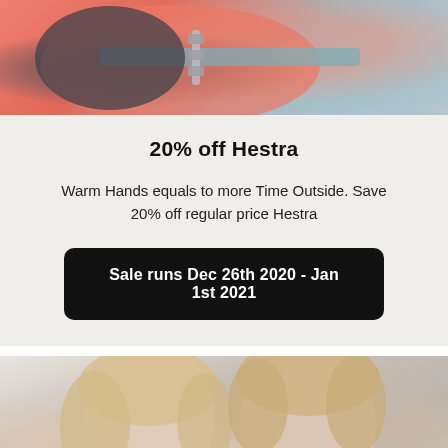[Figure (photo): Close-up photo of colorful winter gloves/hands with coral/salmon and teal/grey colors, zipper visible]
20% off Hestra
Warm Hands equals to more Time Outside. Save 20% off regular price Hestra
Sale runs Dec 26th 2020 - Jan 1st 2021
[Figure (photo): Photo of two blonde models (woman and man) posing together against a light background, with a chat bubble icon in bottom right corner]